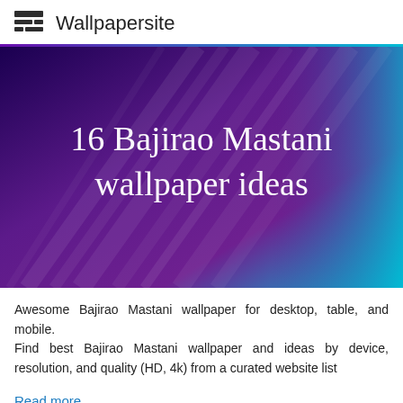Wallpapersite
[Figure (illustration): Hero banner with purple-to-teal gradient background with diagonal light streaks, containing the title '16 Bajirao Mastani wallpaper ideas' in white serif text centered over the image]
Awesome Bajirao Mastani wallpaper for desktop, table, and mobile.
Find best Bajirao Mastani wallpaper and ideas by device, resolution, and quality (HD, 4k) from a curated website list
Read more